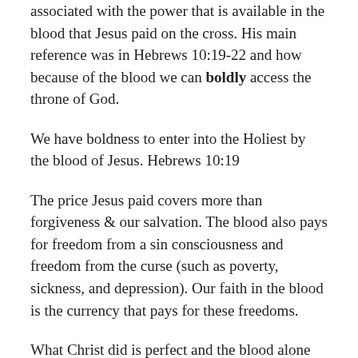associated with the power that is available in the blood that Jesus paid on the cross. His main reference was in Hebrews 10:19-22 and how because of the blood we can boldly access the throne of God.
We have boldness to enter into the Holiest by the blood of Jesus. Hebrews 10:19
The price Jesus paid covers more than forgiveness & our salvation. The blood also pays for freedom from a sin consciousness and freedom from the curse (such as poverty, sickness, and depression). Our faith in the blood is the currency that pays for these freedoms.
What Christ did is perfect and the blood alone has done everything. Perfect.
But our access to it (which is by faith) can be imperfect.